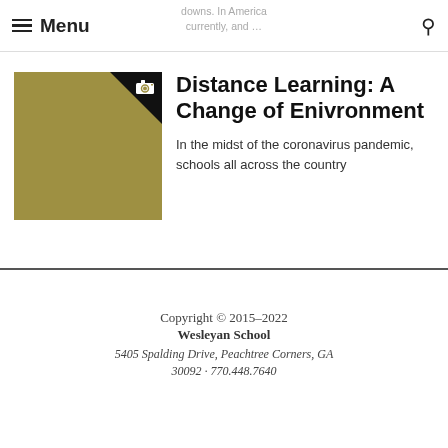Menu  downs. In America currently, and …
[Figure (photo): Olive/khaki colored thumbnail image with camera icon in upper-right corner triangle]
Distance Learning: A Change of Enivronment
In the midst of the coronavirus pandemic, schools all across the country
Copyright © 2015–2022 Wesleyan School 5405 Spalding Drive, Peachtree Corners, GA 30092 · 770.448.7640